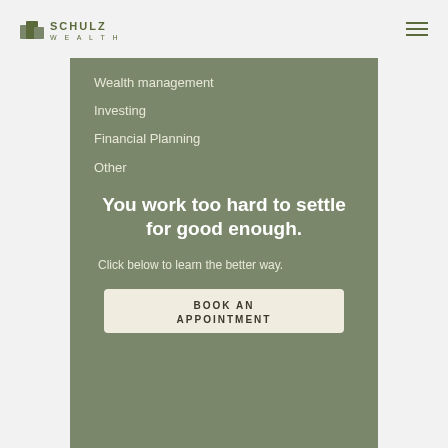SCHULZ WEALTH
Wealth management
Investing
Financial Planning
Other
You work too hard to settle for good enough.
Click below to learn the better way.
BOOK AN APPOINTMENT